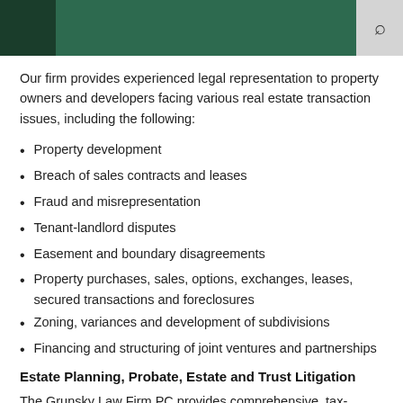[Green law firm header with search icon]
Our firm provides experienced legal representation to property owners and developers facing various real estate transaction issues, including the following:
Property development
Breach of sales contracts and leases
Fraud and misrepresentation
Tenant-landlord disputes
Easement and boundary disagreements
Property purchases, sales, options, exchanges, leases, secured transactions and foreclosures
Zoning, variances and development of subdivisions
Financing and structuring of joint ventures and partnerships
Estate Planning, Probate, Estate and Trust Litigation
The Grunsky Law Firm PC provides comprehensive, tax-sensitive estate planning, trust and estate administration,